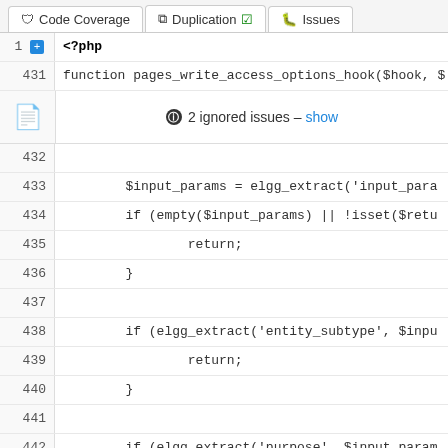Code Coverage | Duplication | Issues
1 <?php
431    function pages_write_access_options_hook($hook, $
2 ignored issues – show
432
433        $input_params = elgg_extract('input_para
434        if (empty($input_params) || !isset($retu
435                return;
436        }
437
438        if (elgg_extract('entity_subtype', $inpu
439                return;
440        }
441
442        if (elgg_extract('purpose', $input_param
443                return;
444        }
445
446        unset($return_value[ACCESS_PUBLIC]);
447